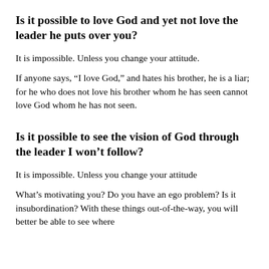Is it possible to love God and yet not love the leader he puts over you?
It is impossible. Unless you change your attitude.
If anyone says, “I love God,” and hates his brother, he is a liar; for he who does not love his brother whom he has seen cannot love God whom he has not seen.
Is it possible to see the vision of God through the leader I won’t follow?
It is impossible. Unless you change your attitude
What’s motivating you? Do you have an ego problem? Is it insubordination? With these things out-of-the-way, you will better be able to see where God is leading through the leader he has...